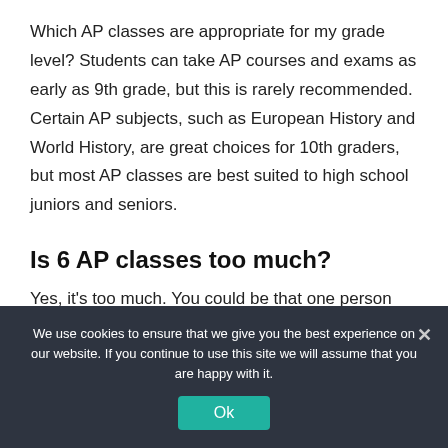Which AP classes are appropriate for my grade level? Students can take AP courses and exams as early as 9th grade, but this is rarely recommended. Certain AP subjects, such as European History and World History, are great choices for 10th graders, but most AP classes are best suited to high school juniors and seniors.
Is 6 AP classes too much?
Yes, it's too much. You could be that one person who can handle this schedule, but something has to give, and your
We use cookies to ensure that we give you the best experience on our website. If you continue to use this site we will assume that you are happy with it.